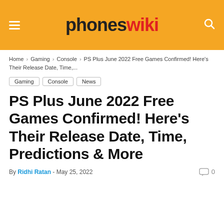phones wiki
Home › Gaming › Console › PS Plus June 2022 Free Games Confirmed! Here's Their Release Date, Time,...
Gaming
Console
News
PS Plus June 2022 Free Games Confirmed! Here's Their Release Date, Time, Predictions & More
By Ridhi Ratan - May 25, 2022   0